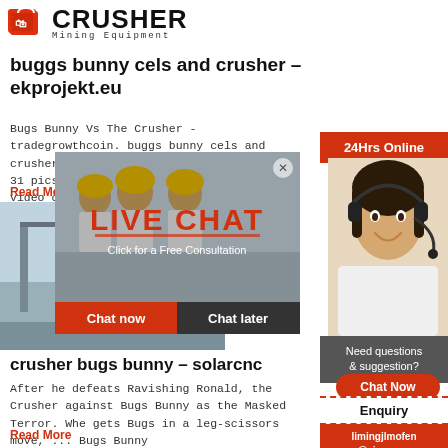[Figure (logo): Crusher Mining Equipment logo with red shopping bag icon and bold CRUSHER text]
buggs bunny cels and crusher – ekprojekt.eu
Bugs Bunny Vs The Crusher - tradegrowthcoin. buggs bunny cels and crusher bugs bunny vs the crusher gallery 31 pics photos that are truly fascinating video caught
Read More
[Figure (photo): Industrial facility/plant photo with cranes and silos]
[Figure (photo): Live chat popup overlay with workers in hard hats, LIVE CHAT heading, Chat now and Chat later buttons]
[Figure (photo): Customer service representative with headset on right sidebar]
24Hrs Online
Need questions & suggestion?
Chat Now
Enquiry
limingjlmofen@sina.com
crusher bugs bunny – solarcnc
After he defeats Ravishing Ronald, the Crusher wrestles against Bugs Bunny as the Masked Terror. When he gets Bugs in a leg-scissors move, ... Bugs Bunny
Read More